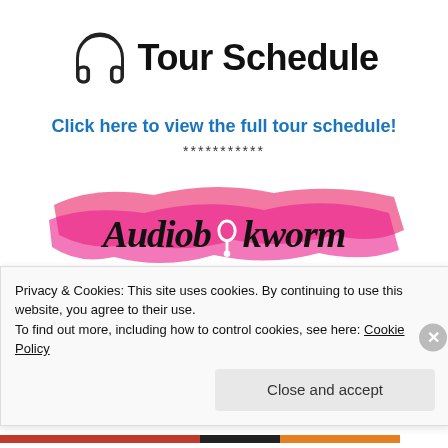Tour Schedule
Click here to view the full tour schedule!
***********
[Figure (logo): Audiobookworm Promotions logo with pink brushstroke background and stylized text]
Privacy & Cookies: This site uses cookies. By continuing to use this website, you agree to their use.
To find out more, including how to control cookies, see here: Cookie Policy
Close and accept